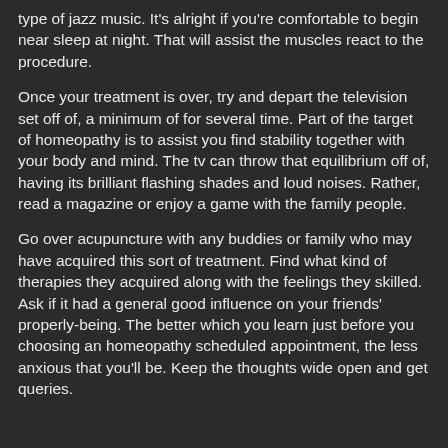type of jazz music. It's alright if you're comfortable to begin near sleep at night. That will assist the muscles react to the procedure.
Once your treatment is over, try and depart the television set off of, a minimum of for several time. Part of the target of homeopathy is to assist you find stability together with your body and mind. The tv can throw that equilibrium off of, having its brilliant flashing shades and loud noises. Rather, read a magazine or enjoy a game with the family people.
Go over acupuncture with any buddies or family who may have acquired this sort of treatment. Find what kind of therapies they acquired along with the feelings they skilled. Ask if it had a general good influence on your friends' properly-being. The better which you learn just before you choosing an homeopathy scheduled appointment, the less anxious that you'll be. Keep the thoughts wide open and get queries.